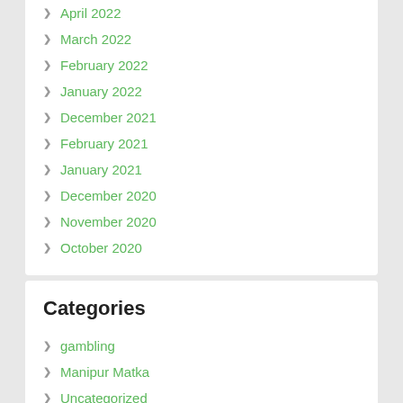April 2022
March 2022
February 2022
January 2022
December 2021
February 2021
January 2021
December 2020
November 2020
October 2020
Categories
gambling
Manipur Matka
Uncategorized